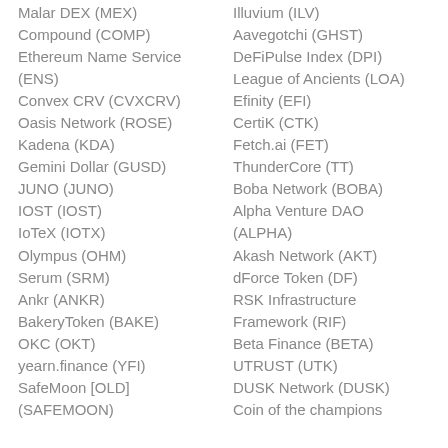Malar DEX (MEX)
Compound (COMP)
Ethereum Name Service (ENS)
Convex CRV (CVXCRV)
Oasis Network (ROSE)
Kadena (KDA)
Gemini Dollar (GUSD)
JUNO (JUNO)
IOST (IOST)
IoTeX (IOTX)
Olympus (OHM)
Serum (SRM)
Ankr (ANKR)
BakeryToken (BAKE)
OKC (OKT)
yearn.finance (YFI)
SafeMoon [OLD] (SAFEMOON)
Illuvium (ILV)
Aavegotchi (GHST)
DeFiPulse Index (DPI)
League of Ancients (LOA)
Efinity (EFI)
CertiK (CTK)
Fetch.ai (FET)
ThunderCore (TT)
Boba Network (BOBA)
Alpha Venture DAO (ALPHA)
Akash Network (AKT)
dForce Token (DF)
RSK Infrastructure Framework (RIF)
Beta Finance (BETA)
UTRUST (UTK)
DUSK Network (DUSK)
Coin of the champions